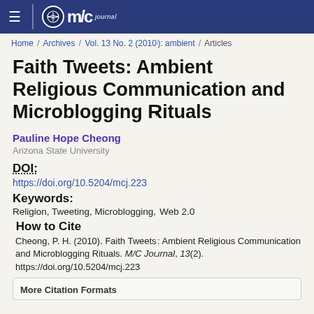Home / Archives / Vol. 13 No. 2 (2010): ambient / Articles
Faith Tweets: Ambient Religious Communication and Microblogging Rituals
Pauline Hope Cheong
Arizona State University
DOI:
https://doi.org/10.5204/mcj.223
Keywords:
Religion, Tweeting, Microblogging, Web 2.0
How to Cite
Cheong, P. H. (2010). Faith Tweets: Ambient Religious Communication and Microblogging Rituals. M/C Journal, 13(2). https://doi.org/10.5204/mcj.223
More Citation Formats